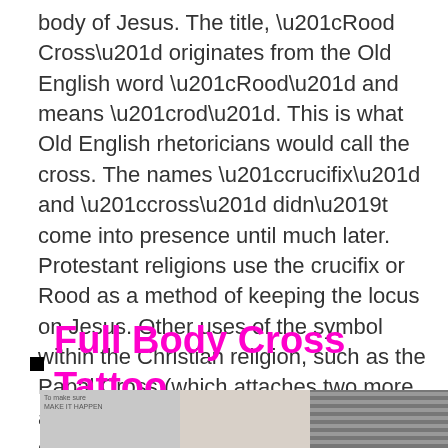body of Jesus. The title, “Rood Cross” originates from the Old English word “Rood” and means “rod”. This is what Old English rhetoricians would call the cross. The names “crucifix” and “cross” didn’t come into presence until much later. Protestant religions use the crucifix or Rood as a method of keeping the locus on Jesus. Other uses of the symbol within the Christian religion, such as the Papal Cross (which attaches two more arms to the cross), put an importance on the cross itself. Some protestant sects believe this use weakens the meaning of the symbol.
Full Body Cross Tattoo
[Figure (photo): Partial view of a photo strip showing a person with a cross tattoo, partially visible at the bottom of the page.]